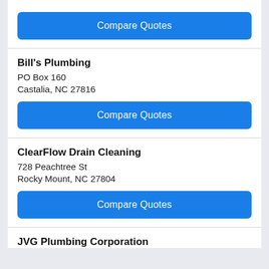Compare Quotes
Bill's Plumbing
PO Box 160
Castalia, NC 27816
Compare Quotes
ClearFlow Drain Cleaning
728 Peachtree St
Rocky Mount, NC 27804
Compare Quotes
JVG Plumbing Corporation